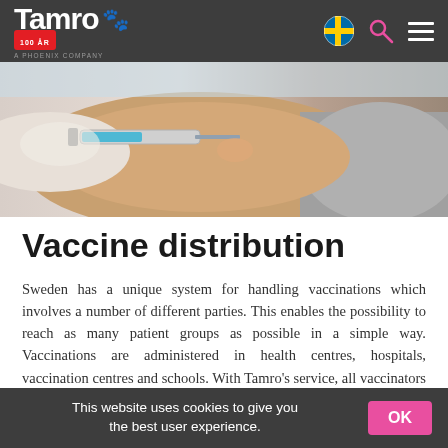Tamro — A Phoenix Company
[Figure (photo): Close-up photo of a healthcare worker in white gloves administering a vaccine injection into a patient's arm]
Vaccine distribution
Sweden has a unique system for handling vaccinations which involves a number of different parties. This enables the possibility to reach as many patient groups as possible in a simple way. Vaccinations are administered in health centres, hospitals, vaccination centres and schools. With Tamro's service, all vaccinators on the Swedish
This website uses cookies to give you the best user experience.